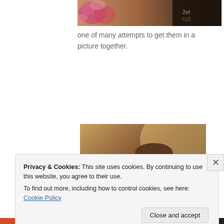[Figure (photo): Partial top photo showing colorful floral fabric on the left and dark background on the right, cropped at top of page]
one of many attempts to get them in a picture together.
[Figure (photo): A man sitting on a dark couch holds two young children — a baby girl with a pink headband and a toddler girl — both looking toward the camera. Warm ambient lighting.]
Privacy & Cookies: This site uses cookies. By continuing to use this website, you agree to their use.
To find out more, including how to control cookies, see here: Cookie Policy
Close and accept